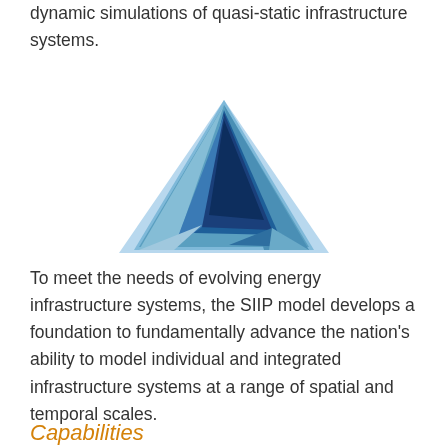dynamic simulations of quasi-static infrastructure systems.
[Figure (logo): Abstract geometric triangle logo made of overlapping blue triangular facets in various shades of blue, forming a layered 3D diamond/triangle shape.]
To meet the needs of evolving energy infrastructure systems, the SIIP model develops a foundation to fundamentally advance the nation's ability to model individual and integrated infrastructure systems at a range of spatial and temporal scales.
Capabilities